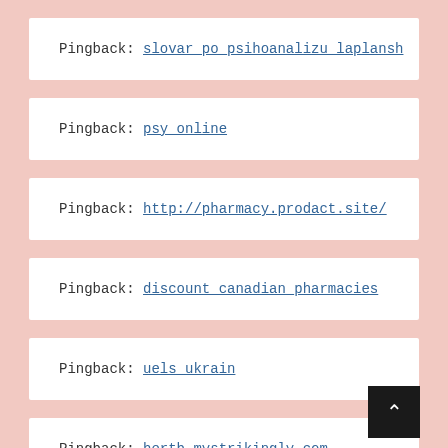Pingback: slovar_po_psihoanalizu_laplansh
Pingback: psy_online
Pingback: http://pharmacy.prodact.site/
Pingback: discount_canadian_pharmacies
Pingback: uels_ukrain
Pingback: hertb.mystrikingly.com